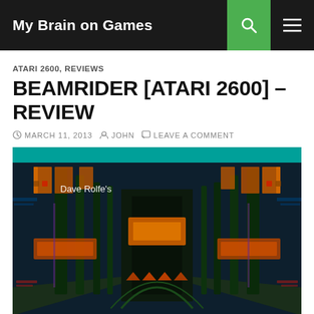My Brain on Games
ATARI 2600, REVIEWS
BEAMRIDER [ATARI 2600] – REVIEW
MARCH 11, 2013  JOHN  LEAVE A COMMENT
[Figure (photo): Beamrider Atari 2600 game box art/screenshot showing a sci-fi corridor scene with futuristic architecture. Text reads 'Dave Rolfe's' in the upper left area.]